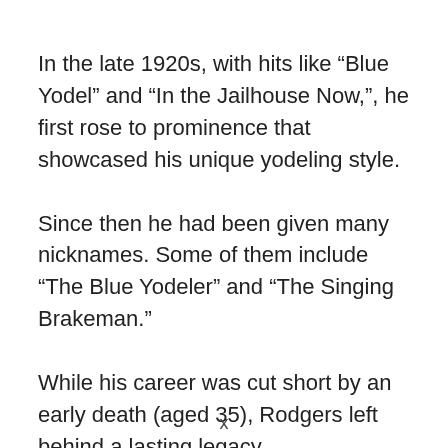In the late 1920s, with hits like “Blue Yodel” and “In the Jailhouse Now,”, he first rose to prominence that showcased his unique yodeling style.
Since then he had been given many nicknames. Some of them include “The Blue Yodeler” and “The Singing Brakeman.”
While his career was cut short by an early death (aged 35), Rodgers left behind a lasting legacy
x